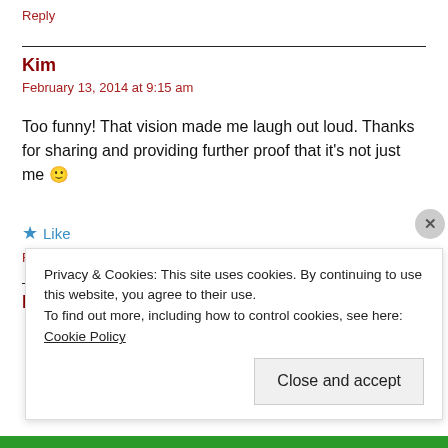Reply
Kim
February 13, 2014 at 9:15 am
Too funny! That vision made me laugh out loud. Thanks for sharing and providing further proof that it's not just me 🙂
Like
Reply
Marci
Privacy & Cookies: This site uses cookies. By continuing to use this website, you agree to their use.
To find out more, including how to control cookies, see here: Cookie Policy
Close and accept